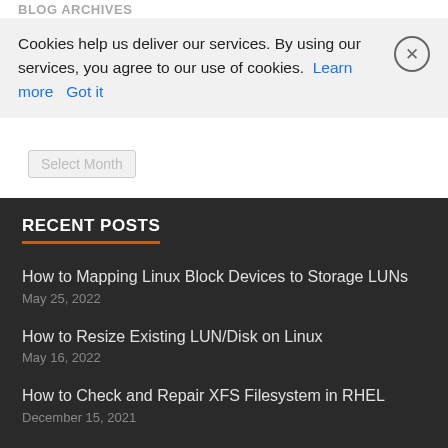BLOG ARCHIVES
Cookies help us deliver our services. By using our services, you agree to our use of cookies. Learn more  Got it
RECENT POSTS
How to Mapping Linux Block Devices to Storage LUNs
May 25, 2022
How to Resize Existing LUN/Disk on Linux
May 16, 2022
How to Check and Repair XFS Filesystem in RHEL
December 15, 2021
How to Check and Repair EXT4 Filesystem in Linux
December 13, 2021
How to Remove Multiple Files at once on Linux